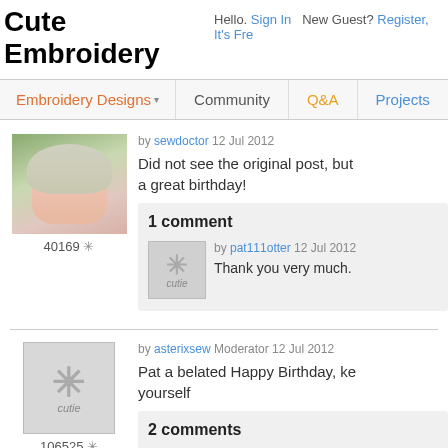Cute Embroidery | Hello. Sign In  New Guest? Register, It's Free
Embroidery Designs ▾  Community  Q&A  Projects
by sewdoctor 12 Jul 2012
Did not see the original post, but a great birthday!
40169 ✳
1 comment
by pat111otter 12 Jul 2012
Thank you very much.
by asterixsew Moderator 12 Jul 2012
Pat a belated Happy Birthday, ke... yourself
106525 ✳
2 comments